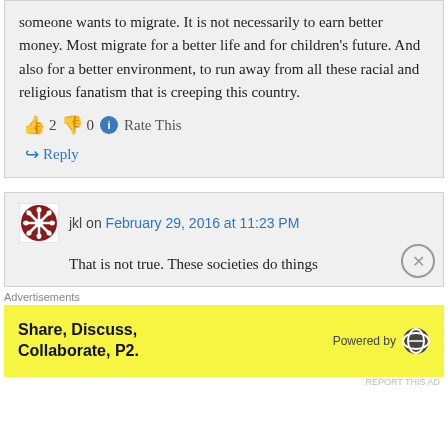someone wants to migrate. It is not necessarily to earn better money. Most migrate for a better life and for children's future. And also for a better environment, to run away from all these racial and religious fanatism that is creeping this country.
👍 2 👎 0 ℹ Rate This
↪ Reply
jkl on February 29, 2016 at 11:23 PM
That is not true. These societies do things
Advertisements
Share, Discuss, Collaborate, P2. Powered by